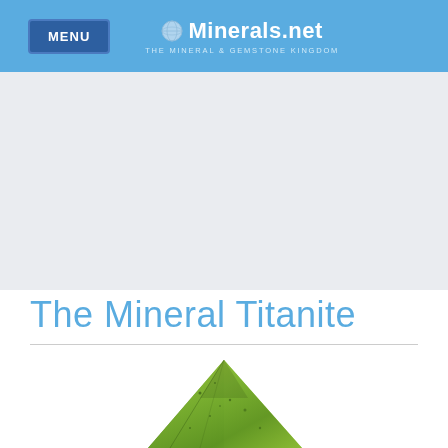MENU | Minerals.net — THE MINERAL & GEMSTONE KINGDOM
The Mineral Titanite
[Figure (photo): Green titanite mineral crystal, wedge/triangular shape with glassy green facets and dark speckles, photographed against white background]